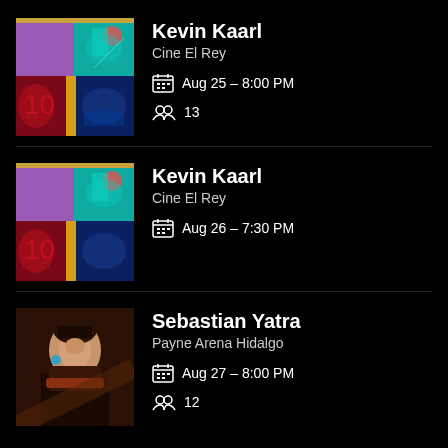[Figure (photo): Kevin Kaarl event thumbnail composite - purple, teal concert, red and blue quadrants with gold bar]
Kevin Kaarl
Cine El Rey
Aug 25 - 8:00 PM
13
[Figure (photo): Kevin Kaarl event thumbnail composite - second listing]
Kevin Kaarl
Cine El Rey
Aug 26 - 7:30 PM
[Figure (photo): Sebastian Yatra portrait photo - dark jacket, studio background]
Sebastian Yatra
Payne Arena Hidalgo
Aug 27 - 8:00 PM
12